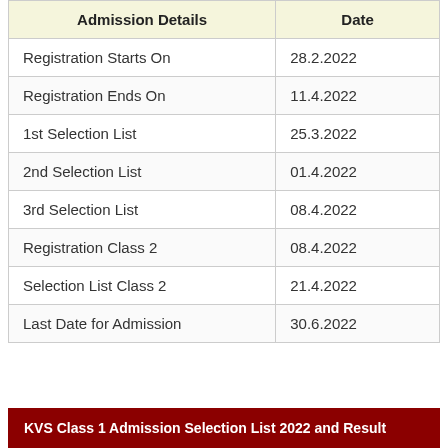| Admission Details | Date |
| --- | --- |
| Registration Starts On | 28.2.2022 |
| Registration Ends On | 11.4.2022 |
| 1st Selection List | 25.3.2022 |
| 2nd Selection List | 01.4.2022 |
| 3rd Selection List | 08.4.2022 |
| Registration Class 2 | 08.4.2022 |
| Selection List Class 2 | 21.4.2022 |
| Last Date for Admission | 30.6.2022 |
KVS Class 1 Admission Selection List 2022 and Result